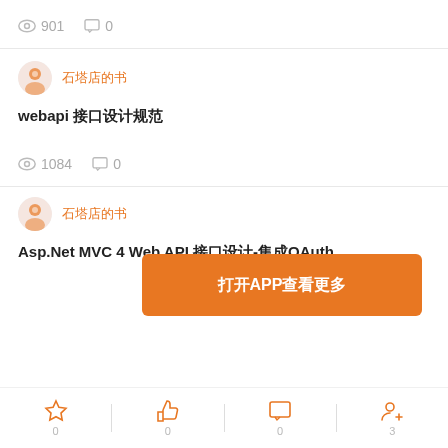901 views  0 comments
author name (Chinese)
webapi 接口设计规范
1084 views  0 comments
[Figure (other): Orange banner button: 打开APP查看更多]
author name (Chinese)
Asp.Net MVC 4 Web API 接口设计-集成OAuth
收藏 0  点赞 0  评论 0  关注 3